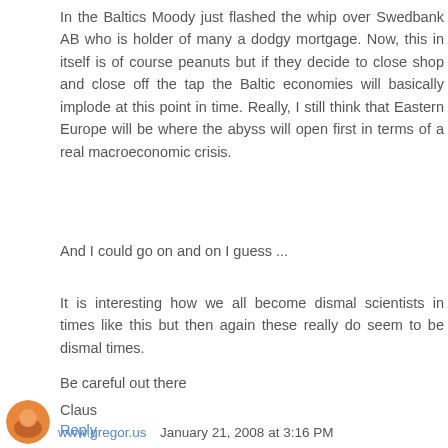In the Baltics Moody just flashed the whip over Swedbank AB who is holder of many a dodgy mortgage. Now, this in itself is of course peanuts but if they decide to close shop and close off the tap the Baltic economies will basically implode at this point in time. Really, I still think that Eastern Europe will be where the abyss will open first in terms of a real macroeconomic crisis.
And I could go on and on I guess ...
It is interesting how we all become dismal scientists in times like this but then again these really do seem to be dismal times.
Be careful out there
Claus
Reply
www.gregor.us  January 21, 2008 at 3:16 PM